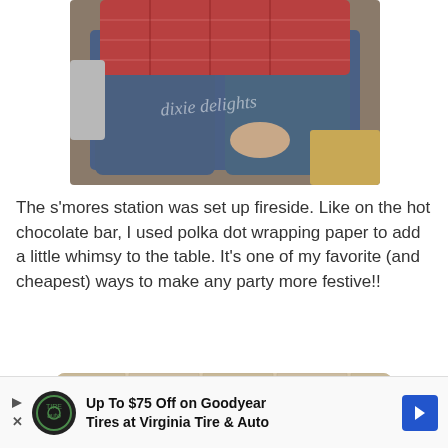[Figure (photo): A person wearing a red plaid shirt and blue jeans sitting on a couch, with a watermark reading 'dixie delights' overlaid on the image]
The s'mores station was set up fireside. Like on the hot chocolate bar, I used polka dot wrapping paper to add a little whimsy to the table. It’s one of my favorite (and cheapest) ways to make any party more festive!!
[Figure (photo): A decorative monogram on a brick wall with teal ceramic flower accents surrounding a wooden letter display]
Up To $75 Off on Goodyear Tires at Virginia Tire & Auto